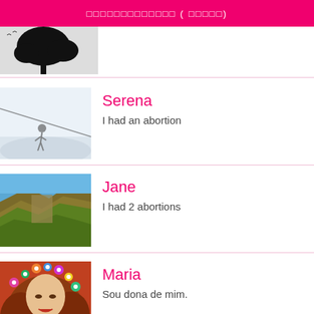ааааааааааааа ( ааааа)
[Figure (photo): Black and white photo of a tree silhouette at the top of the page]
[Figure (photo): Person zip-lining over a snowy landscape]
Serena
I had an abortion
[Figure (photo): Aerial view of green rocky cliffs and blue sky]
Jane
I had 2 abortions
[Figure (illustration): Colorful painting of a woman with floral decorations in her hair, Klimt-style]
Maria
Sou dona de mim.